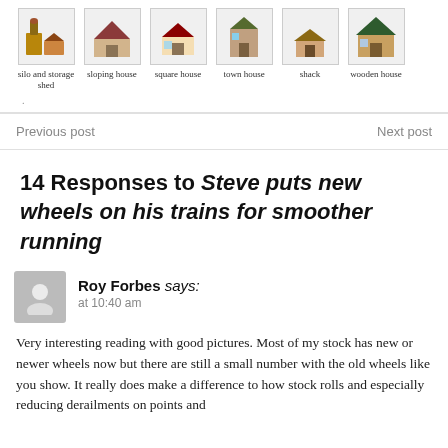[Figure (illustration): Six thumbnail images of model buildings: silo and storage shed, sloping house, square house, town house, shack, wooden house]
.
Previous post	Next post
14 Responses to Steve puts new wheels on his trains for smoother running
Roy Forbes says: at 10:40 am
Very interesting reading with good pictures. Most of my stock has new or newer wheels now but there are still a small number with the old wheels like you show. It really does make a difference to how stock rolls and especially reducing derailments on points and...